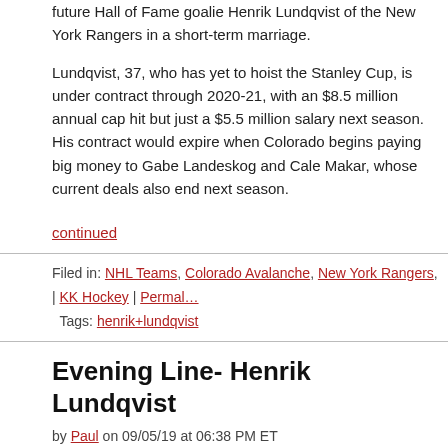future Hall of Fame goalie Henrik Lundqvist of the New York Rangers in a short-term marriage.
Lundqvist, 37, who has yet to hoist the Stanley Cup, is under contract through 2020-21, with an $8.5 million annual cap hit but just a $5.5 million salary next season. His contract would expire when Colorado begins paying big money to Gabe Landeskog and Cale Makar, whose current deals also end next season.
continued
Filed in: NHL Teams, Colorado Avalanche, New York Rangers, | KK Hockey | Permalink
Tags: henrik+lundqvist
Evening Line- Henrik Lundqvist
by Paul on 09/05/19 at 06:38 PM ET
Comments (0)
“I think this summer was an important summer for the organization. The signings we made, the draft picks, it’s all looking good. I feel like we’re coming back into the new season with some momentum here.
“I want to be here when things turn around and we’re back on track. We had so many good years we’re a relevant team and we’re in the mix every season, that’s how I want to end it, in the Rangers. Maybe…